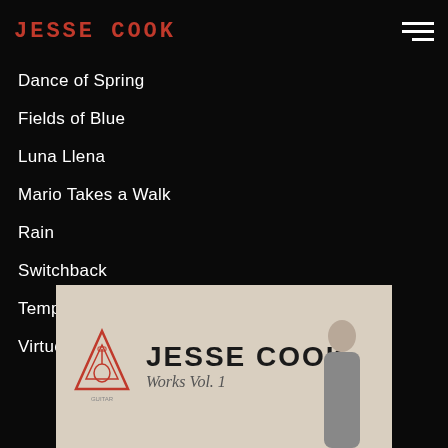JESSE COOK
Dance of Spring
Fields of Blue
Luna Llena
Mario Takes a Walk
Rain
Switchback
Tempest
Virtue
[Figure (photo): Album cover for Jesse Cook Works Vol. 1 showing a guitar logo, the text JESSE COOK Works Vol. 1, and a partial image of a person]